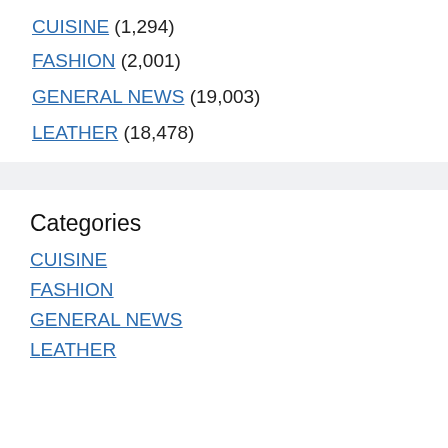CUISINE (1,294)
FASHION (2,001)
GENERAL NEWS (19,003)
LEATHER (18,478)
Categories
CUISINE
FASHION
GENERAL NEWS
LEATHER